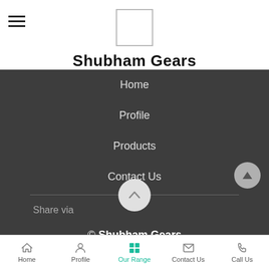[Figure (logo): Logo placeholder box for Shubham Gears]
Shubham Gears
Home
Profile
Products
Contact Us
Share via
© Shubham Gears
Home | Profile | Our Range | Contact Us | Call Us